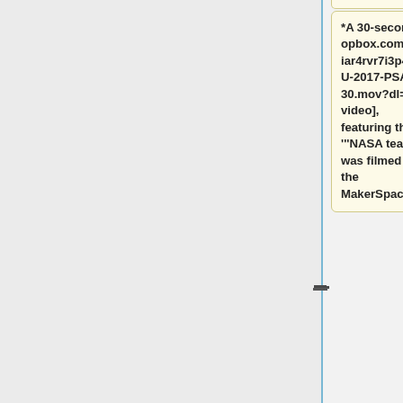*A 30-second [https://www.dropbox.com/s/2diar4rvr7i3p46/TU-2017-PSA-30.mov?dl=0 video], featuring the '''NASA team''', was filmed in the MakerSpace.
*The Tulane MakerSpace was recently featured as part of a tour for the Board of Tulane.  The tour was well...